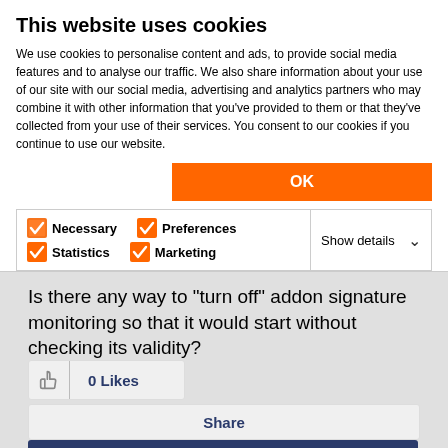This website uses cookies
We use cookies to personalise content and ads, to provide social media features and to analyse our traffic. We also share information about your use of our site with our social media, advertising and analytics partners who may combine it with other information that you've provided to them or that they've collected from your use of their services. You consent to our cookies if you continue to use our website.
OK
Necessary  Preferences  Statistics  Marketing  Show details
Is there any way to "turn off" addon signature monitoring so that it would start without checking its validity?
0 Likes
Share
Reply